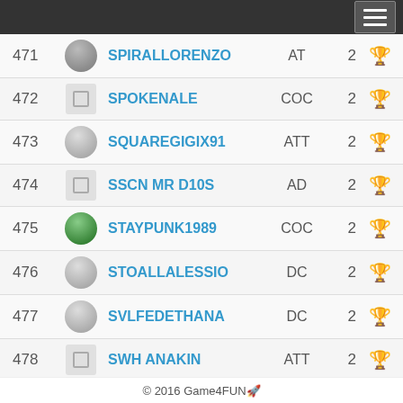| # | Avatar | Name | Pos | Score | Trophy |
| --- | --- | --- | --- | --- | --- |
| 471 |  | SPIRALLORENZO | AT | 2 | 🏆 |
| 472 |  | SPOKENALE | COC | 2 | 🏆 |
| 473 |  | SQUAREGIGIX91 | ATT | 2 | 🏆 |
| 474 |  | SSCN MR D10S | AD | 2 | 🏆 |
| 475 |  | STAYPUNK1989 | COC | 2 | 🏆 |
| 476 |  | STOALLALESSIO | DC | 2 | 🏆 |
| 477 |  | SVLFEDETHANA | DC | 2 | 🏆 |
| 478 |  | SWH ANAKIN | ATT | 2 | 🏆 |
| 479 |  | SWH SPIRIT 14 | TS | 2 | 🏆 |
© 2016 Game4FUN